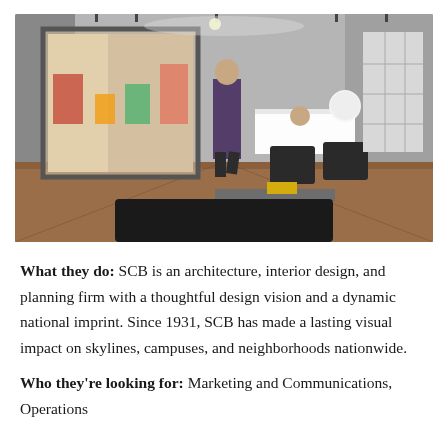[Figure (photo): Interior of an architecture firm office lobby with a man walking past a large glass window, modern furniture including dark leather chairs, a reception desk in the background, and abstract wall art on the right.]
What they do: SCB is an architecture, interior design, and planning firm with a thoughtful design vision and a dynamic national imprint. Since 1931, SCB has made a lasting visual impact on skylines, campuses, and neighborhoods nationwide.
Who they're looking for: Marketing and Communications, Operations